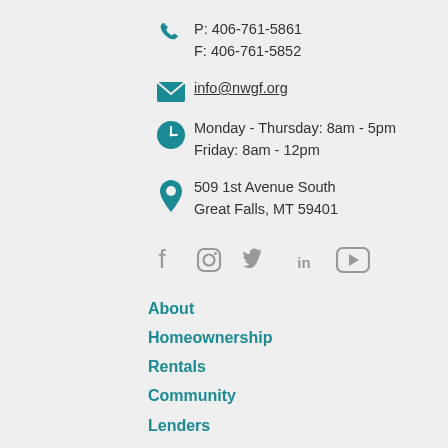P: 406-761-5861
F: 406-761-5852
info@nwgf.org
Monday - Thursday: 8am - 5pm
Friday: 8am - 12pm
509 1st Avenue South
Great Falls, MT 59401
[Figure (infographic): Social media icons: Facebook, Instagram, Twitter, LinkedIn, YouTube in gray]
About
Homeownership
Rentals
Community
Lenders